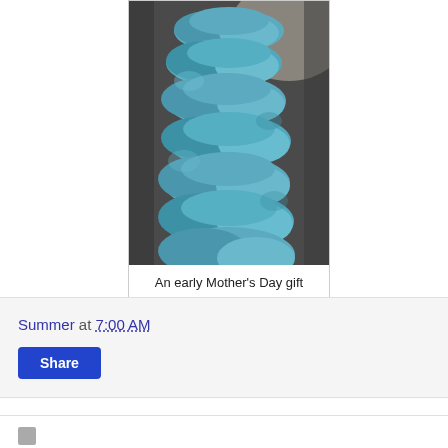[Figure (photo): A person wearing a blue-teal ruffled/frilly knitted scarf around their neck, photographed from the neck/chin down against a dark grey sweater background.]
An early Mother's Day gift
Summer at 7:00 AM
Share